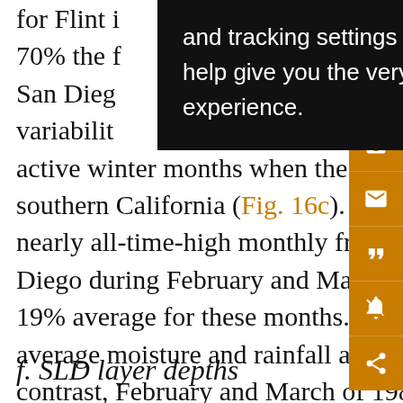for Flint i... 82 to 70% the f... -free San Diego... unt of variability... v ve... active winter months when the storm track impinged strongly on southern California (Fig. 16c). A good example of this is the period of nearly all-time-high monthly frequencies of 35% and 34% for San Diego during February and March 1983, as compared with the overall 19% average for these months. A strong El Niño brought well above average moisture and rainfall across that region during this period. In contrast, February and March of 1984 featured extremely dry weather and almost no icing there (3%).
[Figure (other): Cookie consent banner overlay with dark background reading: 'and tracking settings to store information that help give you the very best browsing experience.']
[Figure (other): Orange sidebar with icons: save (floppy disk), email (envelope), quote marks, notification (bell with slash), share]
f. SLD layer depths